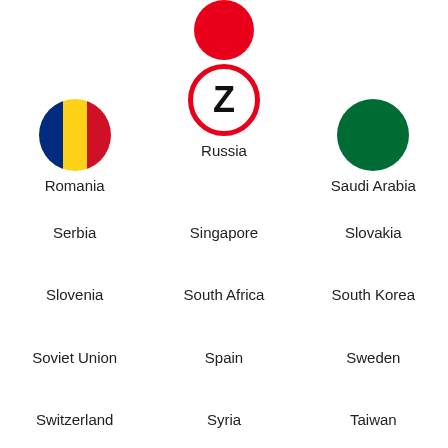[Figure (illustration): Romania flag circle]
Romania
[Figure (illustration): Russia Z military symbol - white circle with red border and black Z, above a red circle]
Russia
[Figure (illustration): Saudi Arabia flag circle - green]
Saudi Arabia
Serbia
Singapore
Slovakia
Slovenia
South Africa
South Korea
Soviet Union
Spain
Sweden
Switzerland
Syria
Taiwan